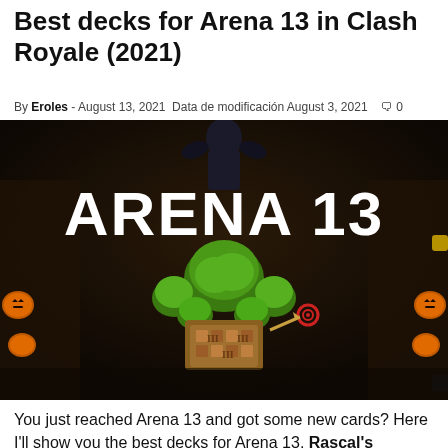Best decks for Arena 13 in Clash Royale (2021)
By Eroles - August 13, 2021 Data de modificación August 3, 2021  🗨 0
[Figure (photo): Clash Royale Arena 13 (Rascal's Hideout) promotional image showing the arena with large white text 'ARENA 13' and a tree-covered hideout structure in the center, dark atmospheric background with orange jack-o-lantern decorations on the sides.]
You just reached Arena 13 and got some new cards? Here I'll show you the best decks for Arena 13, Rascal's Hideout.